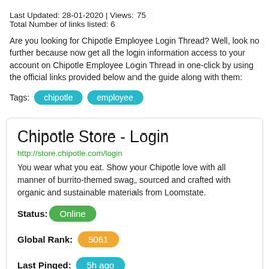Last Updated: 28-01-2020 | Views: 75
Total Number of links listed: 6
Are you looking for Chipotle Employee Login Thread? Well, look no further because now get all the login information access to your account on Chipotle Employee Login Thread in one-click by using the official links provided below and the guide along with them:
Tags: chipotle employee
Chipotle Store - Login
http://store.chipotle.com/login
You wear what you eat. Show your Chipotle love with all manner of burrito-themed swag, sourced and crafted with organic and sustainable materials from Loomstate.
Status: Online
Global Rank: 5061
Last Pinged: 5h ago